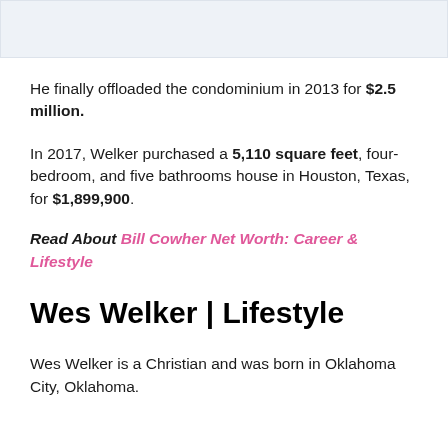[Figure (other): Top portion of a cropped image, partially visible at top of page]
He finally offloaded the condominium in 2013 for $2.5 million.
In 2017, Welker purchased a 5,110 square feet, four-bedroom, and five bathrooms house in Houston, Texas, for $1,899,900.
Read About Bill Cowher Net Worth: Career & Lifestyle
Wes Welker | Lifestyle
Wes Welker is a Christian and was born in Oklahoma City, Oklahoma.